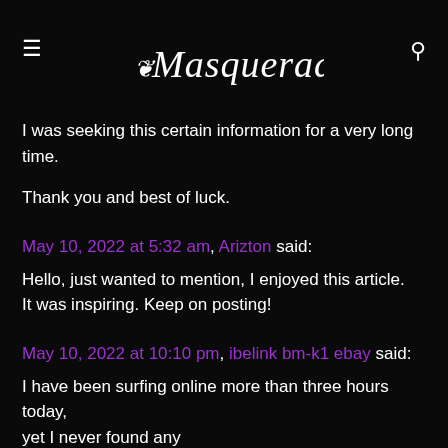Masquerade
I was seeking this certain information for a very long time.

Thank you and best of luck.
May 10, 2022 at 5:32 am, Arizton said:
Hello, just wanted to mention, I enjoyed this article. It was inspiring. Keep on posting!
May 10, 2022 at 10:10 pm, ibelink bm-k1 ebay said:
I have been surfing online more than three hours today, yet I never found any interesting article like yours. It’s pretty worth enough for me. Personally, if all site owners and bloggers made good